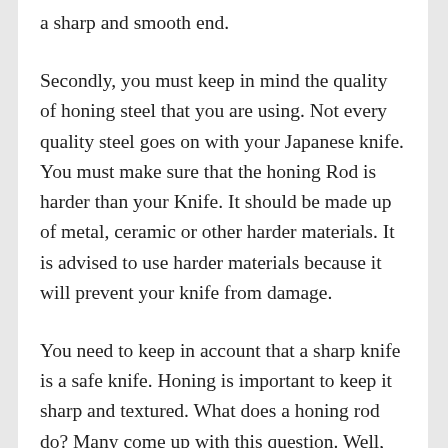a sharp and smooth end.
Secondly, you must keep in mind the quality of honing steel that you are using. Not every quality steel goes on with your Japanese knife. You must make sure that the honing Rod is harder than your Knife. It should be made up of metal, ceramic or other harder materials. It is advised to use harder materials because it will prevent your knife from damage.
You need to keep in account that a sharp knife is a safe knife. Honing is important to keep it sharp and textured. What does a honing rod do? Many come up with this question. Well,